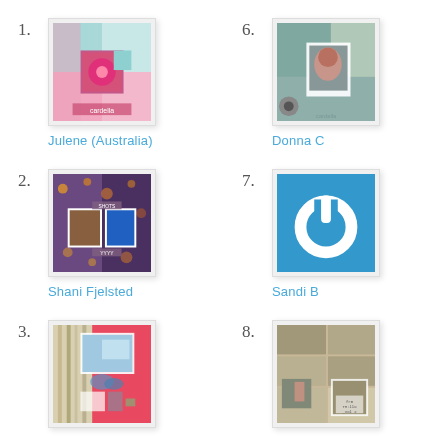1. Julene (Australia)
6. Donna C
2. Shani Fjelsted
7. Sandi B
3. (Margaret/Marcy...)
8. (Donna C / other...)